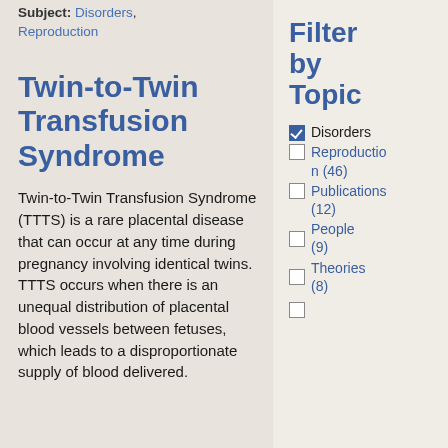Subject: Disorders, Reproduction
Twin-to-Twin Transfusion Syndrome
Twin-to-Twin Transfusion Syndrome (TTTS) is a rare placental disease that can occur at any time during pregnancy involving identical twins. TTTS occurs when there is an unequal distribution of placental blood vessels between fetuses, which leads to a disproportionate supply of blood delivered.
Filter by Topic
Disorders (checked)
Reproduction (46)
Publications (12)
People (9)
Theories (8)